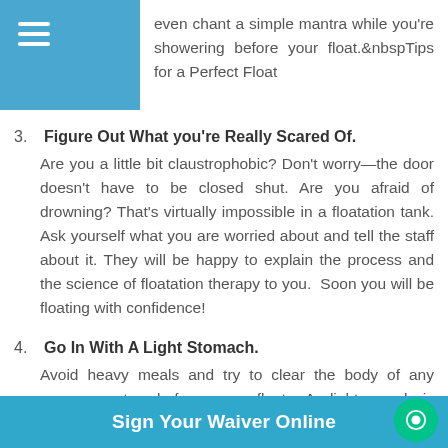even chant a simple mantra while you're showering before your float. Tips for a Perfect Float
3. Figure Out What you're Really Scared Of. Are you a little bit claustrophobic? Don't worry—the door doesn't have to be closed shut. Are you afraid of drowning? That's virtually impossible in a floatation tank. Ask yourself what you are worried about and tell the staff about it. They will be happy to explain the process and the science of floatation therapy to you. Soon you will be floating with confidence!
4. Go In With A Light Stomach. Avoid heavy meals and try to clear the body of any excess water before you float. A light meal is c... Floati... in a... make you
Sign Your Waiver Online